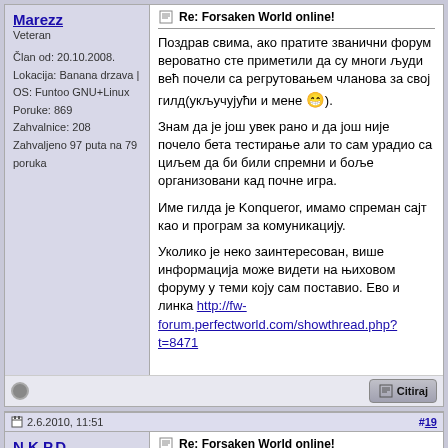Marezz
Veteran
Član od: 20.10.2008.
Lokacija: Banana drzava | OS: Funtoo GNU+Linux
Poruke: 869
Zahvalnice: 208
Zahvaljeno 97 puta na 79 poruka
Re: Forsaken World online!
Поздрав свима, ако пратите званични форум вероватно сте приметили да су многи људи већ почели са регрутовањем чланова за свој гилд(укључујући и мене 😁).
Знам да је још увек рано и да још није почело бета тестирање али то сам урадио са циљем да би били спремни и боље организовани кад почне игра.
Име гилда је Konqueror, имамо спреман сајт као и програм за комуникацију.
Уколико је неко заинтересован, више информација може видети на њиховом форуму у теми коју сам поставио. Ево и линка http://fw-forum.perfectworld.com/showthread.php?t=8471
2.6.2010, 11:51
#19
N.K.P.D.
Veteran
Re: Forsaken World online!
O Winner baš si brz 😁 Nije i name...